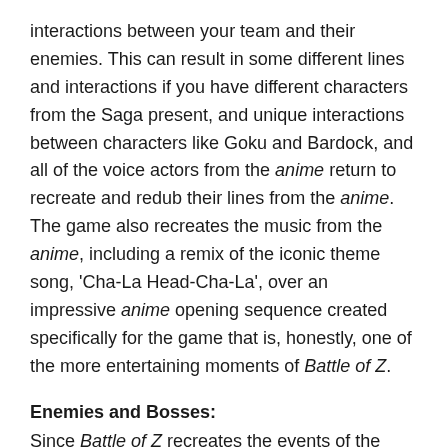interactions between your team and their enemies. This can result in some different lines and interactions if you have different characters from the Saga present, and unique interactions between characters like Goku and Bardock, and all of the voice actors from the anime return to recreate and redub their lines from the anime. The game also recreates the music from the anime, including a remix of the iconic theme song, 'Cha-La Head-Cha-La', over an impressive anime opening sequence created specifically for the game that is, honestly, one of the more entertaining moments of Battle of Z.
Enemies and Bosses:
Since Battle of Z recreates the events of the anime and a handful of the feature-length movies, you'll be tasked with tackling all of the series' most iconic villains and characters as you play through the different missions with certain specific characters. Along the way, you'll also have to contend with